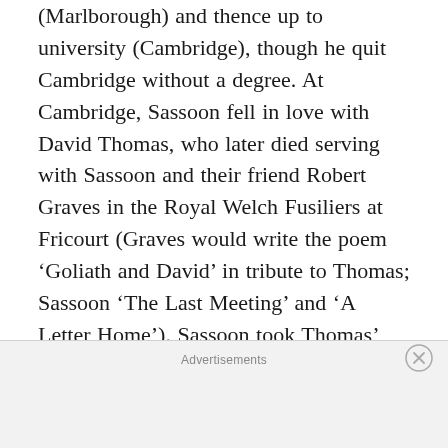(Marlborough) and thence up to university (Cambridge), though he quit Cambridge without a degree. At Cambridge, Sassoon fell in love with David Thomas, who later died serving with Sassoon and their friend Robert Graves in the Royal Welch Fusiliers at Fricourt (Graves would write the poem ‘Goliath and David’ in tribute to Thomas; Sassoon ‘The Last Meeting’ and ‘A Letter Home’). Sassoon took Thomas’ death badly and would go out into no-man’s land nightly, “looking for Germans to kill”. Sassoon, in fact, had a reputation for bravery amongst his men (he was known as ‘Mad Jack’) and won the Military Cross for his actions
Advertisements